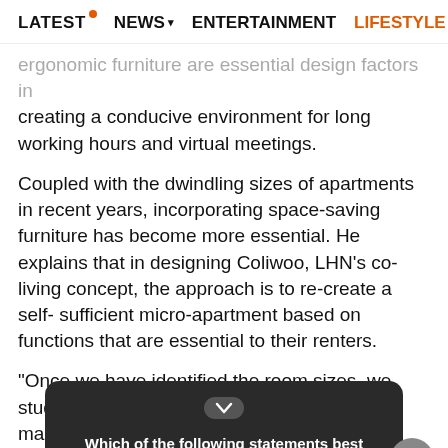LATEST NEWS ENTERTAINMENT LIFESTYLE Eco
ergonomic furniture are essential design factors in creating a conducive environment for long working hours and virtual meetings.
Coupled with the dwindling sizes of apartments in recent years, incorporating space-saving furniture has become more essential. He explains that in designing Coliwoo, LHN's co-living concept, the approach is to re-create a self-sufficient micro-apartment based on functions that are essential to their renters.
“Once we have identified the room sizes, we study in-depth the layouts to maxim… space and pr… at meets t… re have been fo… in providi… ith
Which of the following statements best describe your plans for the rest of the year?